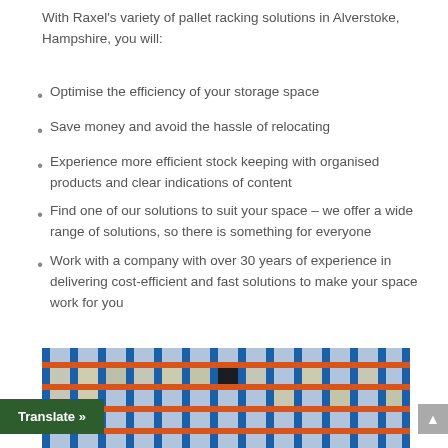With Raxel's variety of pallet racking solutions in Alverstoke, Hampshire, you will:
Optimise the efficiency of your storage space
Save money and avoid the hassle of relocating
Experience more efficient stock keeping with organised products and clear indications of content
Find one of our solutions to suit your space – we offer a wide range of solutions, so there is something for everyone
Work with a company with over 30 years of experience in delivering cost-efficient and fast solutions to make your space work for you
[Figure (photo): Photo of warehouse pallet racking with blue vertical frames and orange horizontal beams, holding wrapped pallets]
Translate »